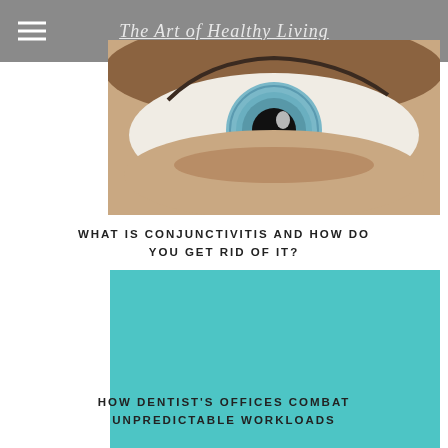The Art of Healthy Living
[Figure (photo): Close-up photograph of a human eye with blue-green iris]
WHAT IS CONJUNCTIVITIS AND HOW DO YOU GET RID OF IT?
[Figure (photo): Teal/turquoise colored rectangular image placeholder]
HOW DENTIST'S OFFICES COMBAT UNPREDICTABLE WORKLOADS